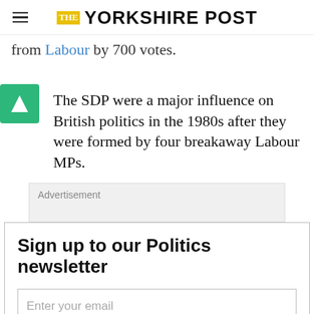THE YORKSHIRE POST
from Labour by 700 votes.
The SDP were a major influence on British politics in the 1980s after they were formed by four breakaway Labour MPs.
Advertisement
Sign up to our Politics newsletter
Enter your email
Sign up now
This site is protected by reCAPTCHA and the Google